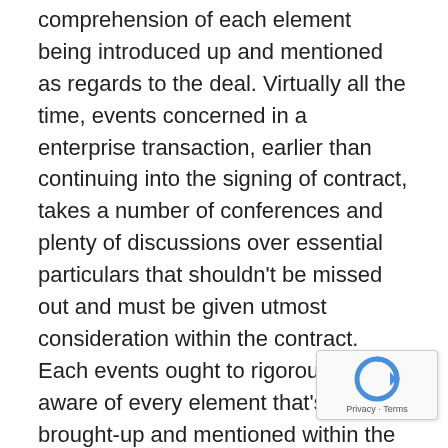comprehension of each element being introduced up and mentioned as regards to the deal. Virtually all the time, events concerned in a enterprise transaction, earlier than continuing into the signing of contract, takes a number of conferences and plenty of discussions over essential particulars that shouldn't be missed out and must be given utmost consideration within the contract. Each events ought to rigorously be aware of every element that's being brought-up and mentioned within the assembly and see to it that the phrases and circumstances being talked about are agreeable and acceptable to events involved.Upon presentation of the contract, examine and overview must be made in all each particulars acknowledged therein. The physique of the contract ought to specify the rights and obligations of every get together intimately. Do not miss something out. If